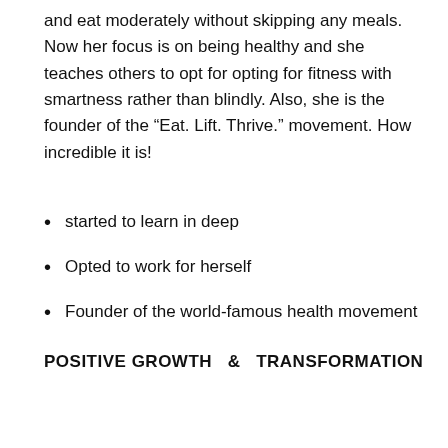and eat moderately without skipping any meals. Now her focus is on being healthy and she teaches others to opt for opting for fitness with smartness rather than blindly. Also, she is the founder of the “Eat. Lift. Thrive.” movement. How incredible it is!
started to learn in deep
Opted to work for herself
Founder of the world-famous health movement
POSITIVE GROWTH  &  TRANSFORMATION